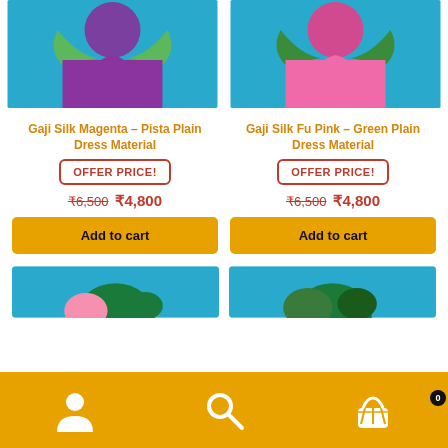[Figure (photo): Product photo of Gaji Silk Magenta Pista Plain Dress Material on turquoise background]
[Figure (photo): Product photo of Gaji Silk Fu Pink Green Plain Dress Material on turquoise background]
Gaji Silk Magenta – Pista Plain Dress Material
Gaji Silk Fu Pink – Green Plain Dress Material
OFFER PRICE!
OFFER PRICE!
₹6,500  ₹4,800
₹6,500  ₹4,800
Add to cart
Add to cart
[Figure (photo): Partial product photo bottom left on turquoise background]
[Figure (photo): Partial product photo bottom right on turquoise background]
[Figure (infographic): Bottom navigation bar with user, search, and cart icons on orange background]